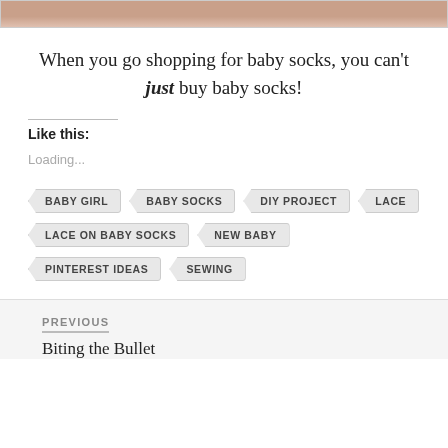[Figure (photo): Cropped photo showing baby feet or hands with socks, partial view at top of page]
When you go shopping for baby socks, you can't just buy baby socks!
Like this:
Loading...
BABY GIRL
BABY SOCKS
DIY PROJECT
LACE
LACE ON BABY SOCKS
NEW BABY
PINTEREST IDEAS
SEWING
PREVIOUS
Biting the Bullet